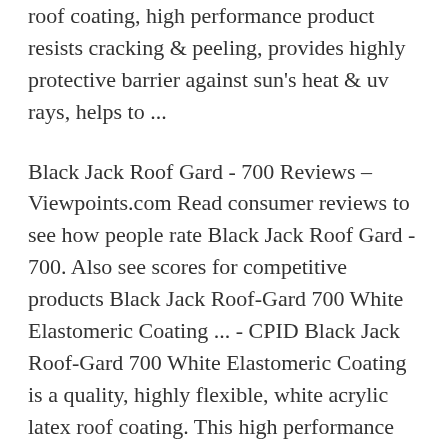roof coating, high performance product resists cracking & peeling, provides highly protective barrier against sun's heat & uv rays, helps to ...
Black Jack Roof Gard - 700 Reviews – Viewpoints.com Read consumer reviews to see how people rate Black Jack Roof Gard - 700. Also see scores for competitive products Black Jack Roof-Gard 700 White Elastomeric Coating ... - CPID Black Jack Roof-Gard 700 White Elastomeric Coating is a quality, highly flexible, white acrylic latex roof coating. This high performance product resists cracking and peeling, while offering tremendous durability and long term life. It expands and contracts up to 250 percent with roof movement to resist damage. Black Jack 7 Year White Elastomeric Roof Coating 5 Gallon ... Black jack,